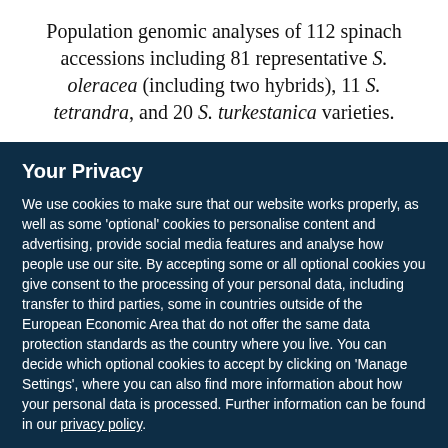Population genomic analyses of 112 spinach accessions including 81 representative S. oleracea (including two hybrids), 11 S. tetrandra, and 20 S. turkestanica varieties.
Your Privacy
We use cookies to make sure that our website works properly, as well as some 'optional' cookies to personalise content and advertising, provide social media features and analyse how people use our site. By accepting some or all optional cookies you give consent to the processing of your personal data, including transfer to third parties, some in countries outside of the European Economic Area that do not offer the same data protection standards as the country where you live. You can decide which optional cookies to accept by clicking on 'Manage Settings', where you can also find more information about how your personal data is processed. Further information can be found in our privacy policy.